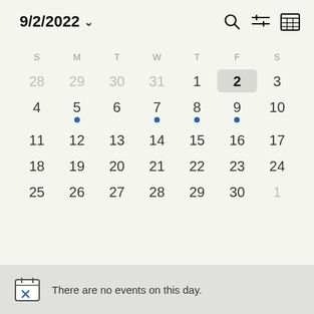9/2/2022
[Figure (screenshot): Calendar view of September 2022 showing month grid with days, event dots on 5, 7, 8, 9, and selected date 2 highlighted in gray]
There are no events on this day.